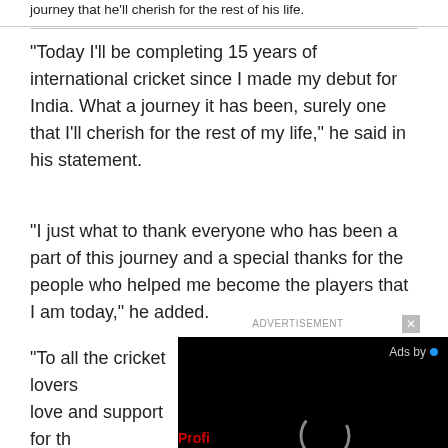journey that he'll cherish for the rest of his life.
“Today I’ll be completing 15 years of international cricket since I made my debut for India. What a journey it has been, surely one that I’ll cherish for the rest of my life,” he said in his statement.
“I just what to thank everyone who has been a part of this journey and a special thanks for the people who helped me become the players that I am today,” he added.
“To all the cricket lovers… love and support for th… over those hurdles we a… across,” he said thankin…
[Figure (screenshot): Advertisement overlay with black video player showing a loading circle spinner and 'Ads by' label with blue dot, plus close button X]
Profile Chef.